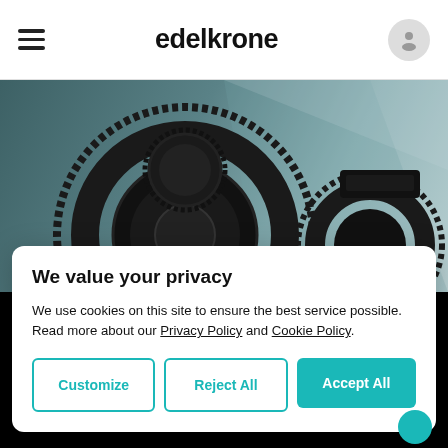edelkrone
[Figure (photo): Product photo of camera lens gears/follow focus accessories on a teal/grey gradient background]
We value your privacy
We use cookies on this site to ensure the best service possible. Read more about our Privacy Policy and Cookie Policy.
Customize | Reject All | Accept All